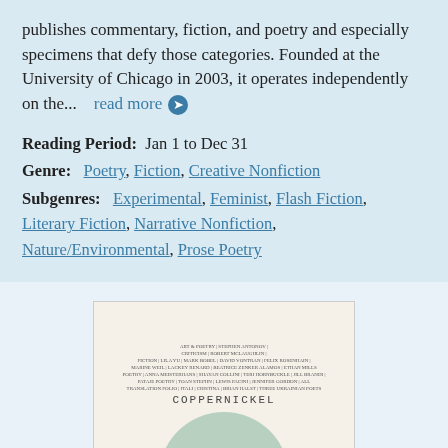publishes commentary, fiction, and poetry and especially specimens that defy those categories. Founded at the University of Chicago in 2003, it operates independently on the...   read more →
Reading Period:  Jan 1 to Dec 31
Genre:  Poetry, Fiction, Creative Nonfiction
Subgenres:  Experimental, Feminist, Flash Fiction, Literary Fiction, Narrative Nonfiction, Nature/Environmental, Prose Poetry
[Figure (photo): Book cover of Coppernickel literary magazine showing small text credits at top, the title COPPERNICKEL in spaced capital letters, and a green semicircular arc shape at the bottom, on a cream/white background.]